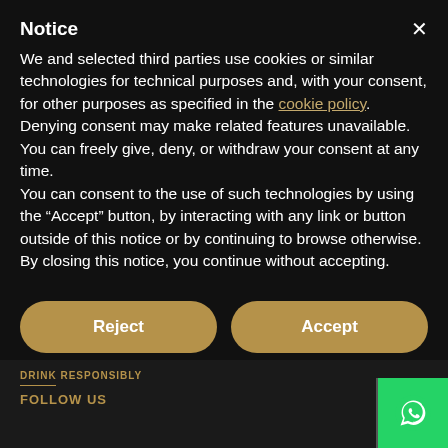Notice
We and selected third parties use cookies or similar technologies for technical purposes and, with your consent, for other purposes as specified in the cookie policy. Denying consent may make related features unavailable.
You can freely give, deny, or withdraw your consent at any time.
You can consent to the use of such technologies by using the “Accept” button, by interacting with any link or button outside of this notice or by continuing to browse otherwise. By closing this notice, you continue without accepting.
Reject
Accept
Learn more and customise
DRINK RESPONSIBLY
FOLLOW US